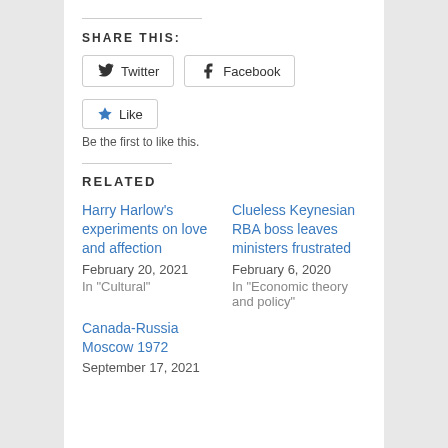SHARE THIS:
[Figure (other): Twitter and Facebook share buttons, and a Like button with star icon]
Be the first to like this.
RELATED
Harry Harlow's experiments on love and affection
February 20, 2021
In "Cultural"
Clueless Keynesian RBA boss leaves ministers frustrated
February 6, 2020
In "Economic theory and policy"
Canada-Russia Moscow 1972
September 17, 2021